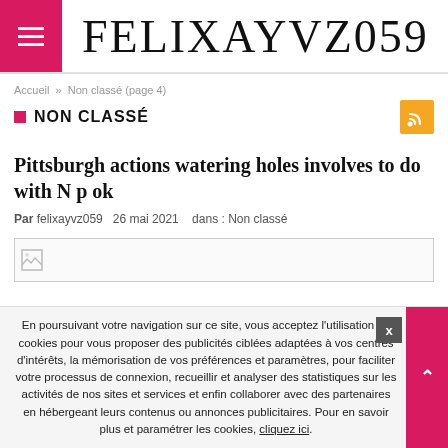FELIXAYVZ059
Accueil » Non classé (page 4)
NON CLASSÉ
Pittsburgh actions watering holes involves to do with N p ok
Par felixayvz059  26 mai 2021   dans : Non classé
[Figure (other): Broken image placeholder]
En poursuivant votre navigation sur ce site, vous acceptez l'utilisation de cookies pour vous proposer des publicités ciblées adaptées à vos centres d'intérêts, la mémorisation de vos préférences et paramètres, pour faciliter votre processus de connexion, recueillir et analyser des statistiques sur les activités de nos sites et services et enfin collaborer avec des partenaires en hébergeant leurs contenus ou annonces publicitaires. Pour en savoir plus et paramétrer les cookies, cliquez ici.